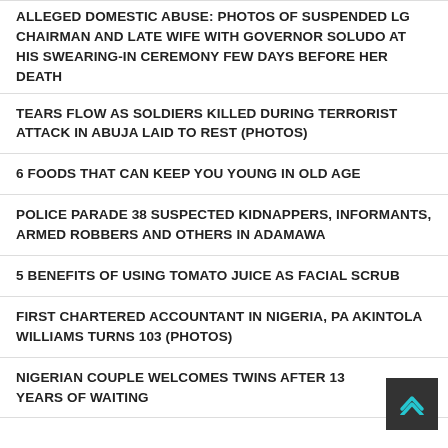ALLEGED DOMESTIC ABUSE: PHOTOS OF SUSPENDED LG CHAIRMAN AND LATE WIFE WITH GOVERNOR SOLUDO AT HIS SWEARING-IN CEREMONY FEW DAYS BEFORE HER DEATH
TEARS FLOW AS SOLDIERS KILLED DURING TERRORIST ATTACK IN ABUJA LAID TO REST (PHOTOS)
6 FOODS THAT CAN KEEP YOU YOUNG IN OLD AGE
POLICE PARADE 38 SUSPECTED KIDNAPPERS, INFORMANTS, ARMED ROBBERS AND OTHERS IN ADAMAWA
5 BENEFITS OF USING TOMATO JUICE AS FACIAL SCRUB
FIRST CHARTERED ACCOUNTANT IN NIGERIA, PA AKINTOLA WILLIAMS TURNS 103 (PHOTOS)
NIGERIAN COUPLE WELCOMES TWINS AFTER 13 YEARS OF WAITING